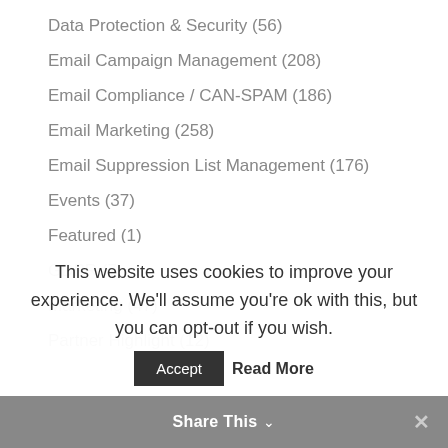Data Protection & Security (56)
Email Campaign Management (208)
Email Compliance / CAN-SPAM (186)
Email Marketing (258)
Email Suppression List Management (176)
Events (37)
Featured (1)
GDPR (7)
Marketing (47)
Partner Highlight (12)
This website uses cookies to improve your experience. We'll assume you're ok with this, but you can opt-out if you wish.
Accept  Read More
Share This